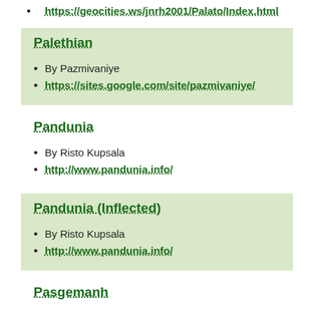https://geocities.ws/jnrh2001/Palato/Index.html
Palethian
By Pazmivaniye
https://sites.google.com/site/pazmivaniye/
Pandunia
By Risto Kupsala
http://www.pandunia.info/
Pandunia (Inflected)
By Risto Kupsala
http://www.pandunia.info/
Pasgemanh